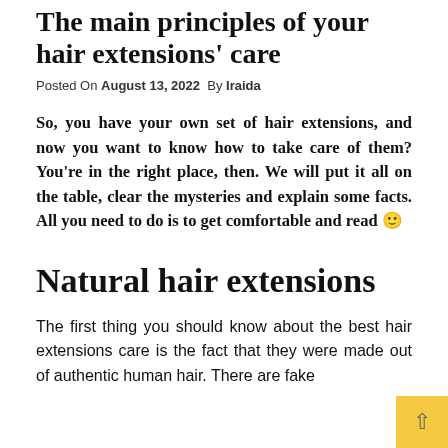The main principles of your hair extensions' care
Posted On August 13, 2022  By Iraida
So, you have your own set of hair extensions, and now you want to know how to take care of them? You're in the right place, then. We will put it all on the table, clear the mysteries and explain some facts. All you need to do is to get comfortable and read 🙂
Natural hair extensions
The first thing you should know about the best hair extensions care is the fact that they were made out of authentic human hair. There are fake